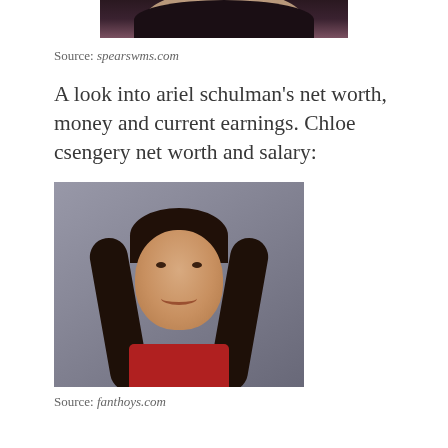[Figure (photo): Partial photo of a person, cropped showing only the lower portion of a face/neck area with dark hair]
Source: spearswms.com
A look into ariel schulman's net worth, money and current earnings. Chloe csengery net worth and salary:
[Figure (photo): Portrait photo of a young woman with long dark brown hair, smiling, wearing a red top, against a grey background]
Source: fanthoys.com